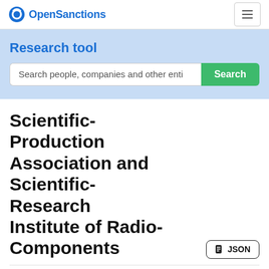OpenSanctions
Research tool
Search people, companies and other enti
Scientific-Production Association and Scientific-Research Institute of Radio-Components
JSON
Type
Organization
[raw]